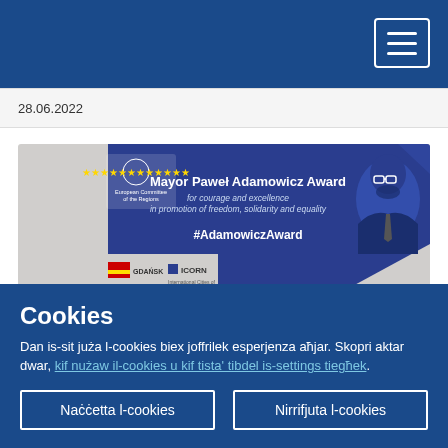28.06.2022
[Figure (illustration): Mayor Paweł Adamowicz Award banner. Blue and grey background with EU Committee of the Regions logo on left, text: Mayor Paweł Adamowicz Award for courage and excellence in promotion of freedom, solidarity and equality. #AdamowiczAward. GDANSK and ICORN logos at bottom left. Portrait silhouette of a man with glasses on right side.]
Nominations open for Mayor Paweł Adamowicz Award
Cookies
Dan is-sit juża l-cookies biex joffrilek esperjenza aħjar. Skopri aktar dwar, kif nużaw il-cookies u kif tista' tibdel is-settings tiegħek.
Naċċetta l-cookies
Nirrifjuta l-cookies